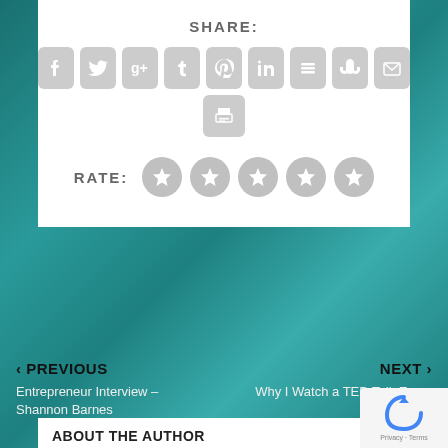SHARE:
[Figure (infographic): Social sharing icons row: Facebook, Twitter, Google+, Tumblr, Pinterest, LinkedIn, Buffer, StumbleUpon, Email, and a print icon below]
RATE:
[Figure (infographic): Five grey star rating circles]
‹ PREVIOUS
NEXT ›
Entrepreneur Interview – Shannon Barnes
Why I Watch a TED Talk Every Day
ABOUT THE AUTHOR
Haley Gray